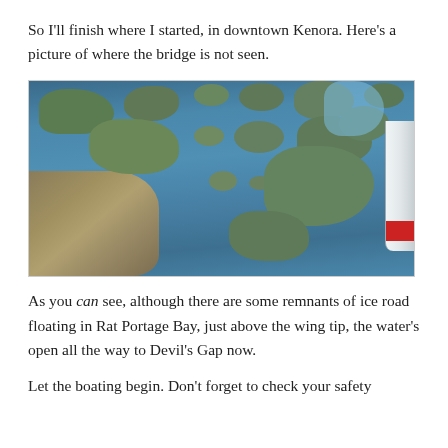So I’ll finish where I started, in downtown Kenora. Here’s a picture of where the bridge is not seen.
[Figure (photo): Aerial photograph taken from a small aircraft showing Lake of the Woods near Kenora, Ontario. The image shows numerous forested islands set in dark blue lake water, with the town of Kenora visible in the lower left. The aircraft wing tip is visible in the lower right corner. Some ice road remnants are visible floating in Rat Portage Bay.]
As you can see, although there are some remnants of ice road floating in Rat Portage Bay, just above the wing tip, the water’s open all the way to Devil’s Gap now.
Let the boating begin. Don’t forget to check your safety